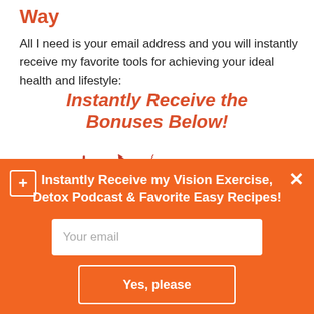Way
All I need is your email address and you will instantly receive my favorite tools for achieving your ideal health and lifestyle:
Instantly Receive the Bonuses Below!
[Figure (illustration): Four hand-drawn red downward arrows of varying sizes pointing downward]
Instantly Receive my Vision Exercise, Detox Podcast & Favorite Easy Recipes!
Your email
Yes, please